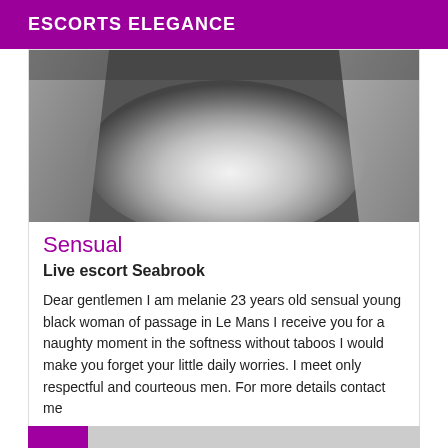ESCORTS ELEGANCE
[Figure (photo): Black and white close-up photo of a person's body]
Sensual
Live escort Seabrook
Dear gentlemen I am melanie 23 years old sensual young black woman of passage in Le Mans I receive you for a naughty moment in the softness without taboos I would make you forget your little daily worries. I meet only respectful and courteous men. For more details contact me